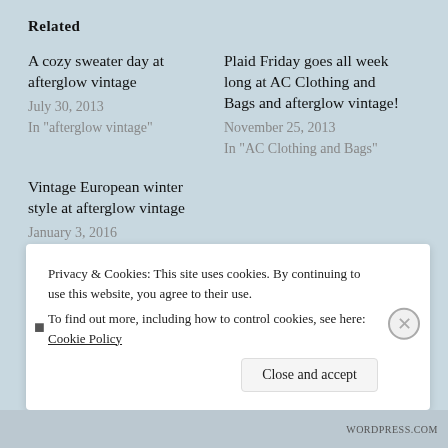Related
A cozy sweater day at afterglow vintage
July 30, 2013
In "afterglow vintage"
Plaid Friday goes all week long at AC Clothing and Bags and afterglow vintage!
November 25, 2013
In "AC Clothing and Bags"
Vintage European winter style at afterglow vintage
January 3, 2016
In "afterglow vintage"
Privacy & Cookies: This site uses cookies. By continuing to use this website, you agree to their use.
To find out more, including how to control cookies, see here: Cookie Policy
Close and accept